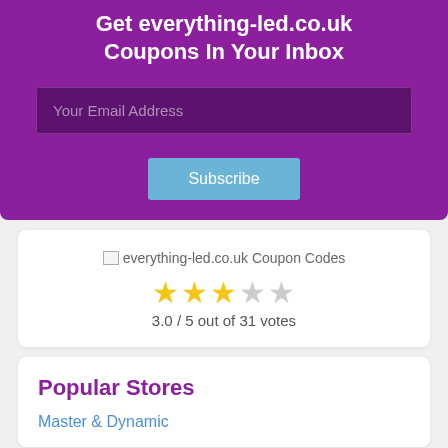Get everything-led.co.uk Coupons In Your Inbox
[Figure (screenshot): Email subscription input field with placeholder 'Your Email Address' on dark purple background]
[Figure (screenshot): Subscribe button in light blue]
[Figure (screenshot): everything-led.co.uk Coupon Codes logo/image placeholder with alt text]
3.0 / 5 out of 31 votes
Popular Stores
Master & Dynamic